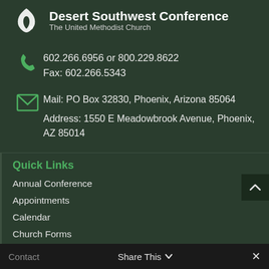Desert Southwest Conference — The United Methodist Church
602.266.6956 or 800.229.8622
Fax: 602.266.5343
Mail: PO Box 32830, Phoenix, Arizona 85064
Address: 1550 E Meadowbrook Avenue, Phoenix, AZ 85014
Quick Links
Annual Conference
Appointments
Calendar
Church Forms
Classifieds
Contact   Share This   ✕